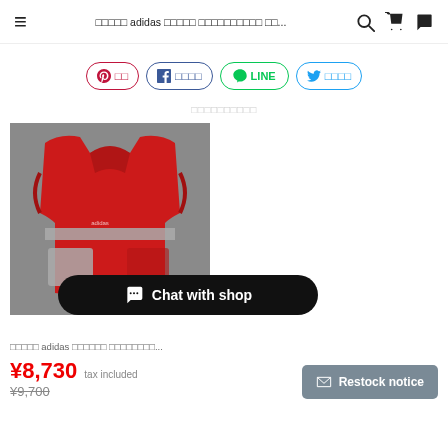≡  ??????? adidas ?????? ?????????? ??...  🔍  🛒
?? ????  f ?????  LINE  t ?????
??????????
[Figure (photo): Red adidas puffer vest on grey background, with grey reflective stripe and pockets]
Chat with shop
??????? adidas ?????? ?????????...
¥8,730 tax included ¥9,700
✉ Restock notice